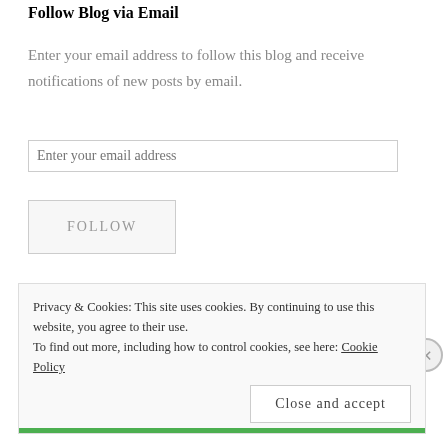Follow Blog via Email
Enter your email address to follow this blog and receive notifications of new posts by email.
Enter your email address
FOLLOW
Join 222 other followers
Privacy & Cookies: This site uses cookies. By continuing to use this website, you agree to their use. To find out more, including how to control cookies, see here: Cookie Policy
Close and accept